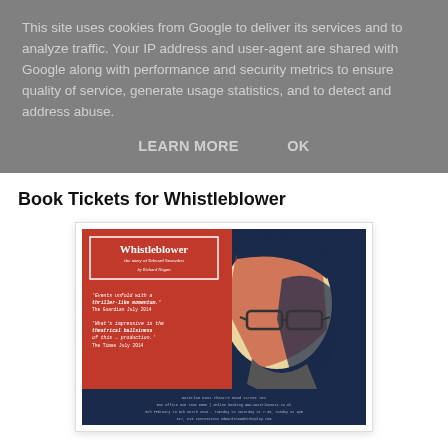This site uses cookies from Google to deliver its services and to analyze traffic. Your IP address and user-agent are shared with Google along with performance and security metrics to ensure quality of service, generate usage statistics, and to detect and address abuse.
LEARN MORE    OK
Book Tickets for Whistleblower
[Figure (illustration): Theatrical poster for 'Whistleblower: the story of Edward Snowden' by Richard Hogan. Red/dark blue stylized graphic portrait of Edward Snowden with glasses. Left side has white text with review quotes: 'Events unfold with a thriller-like momentum.' The Guardian July 2014; 'What's impressive is the theatrical ballsiness of this … production.' The Times July 2014. Bottom dark blue band with venue/booking details: Waterloo East Theatre Road Street SE1, Box Office 020 7928 0060, Online booking www.waterlooeast.co.uk, 5th February to 6th March 2016 - Tuesday to Saturday at 7.30, Sunday at 4pm, £17, £15 concessions edwardsnowdentheplay.com]